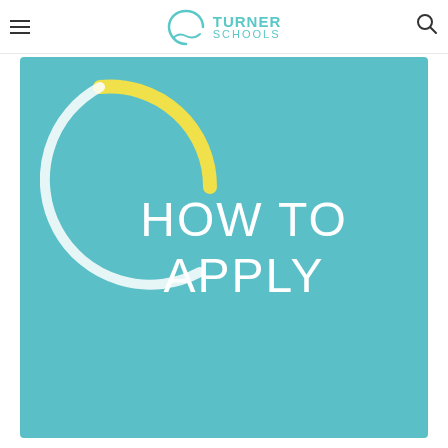Turner Schools
[Figure (infographic): Teal/turquoise hero banner with decorative circle graphic (yellow arc on left, white/teal arc on right) and large white text reading 'HOW TO APPLY' on a teal background]